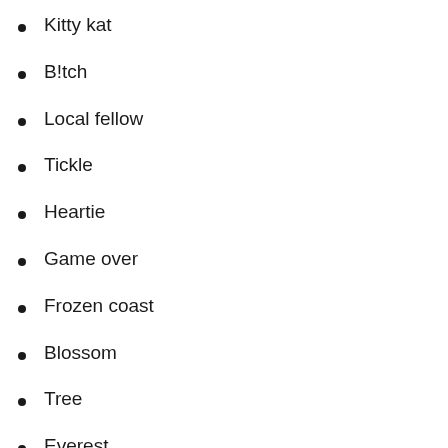Kitty kat
B!tch
Local fellow
Tickle
Heartie
Game over
Frozen coast
Blossom
Tree
Everest
Chica